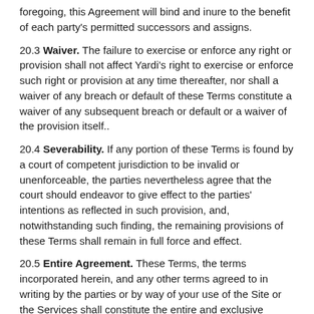foregoing, this Agreement will bind and inure to the benefit of each party's permitted successors and assigns.
20.3 Waiver. The failure to exercise or enforce any right or provision shall not affect Yardi's right to exercise or enforce such right or provision at any time thereafter, nor shall a waiver of any breach or default of these Terms constitute a waiver of any subsequent breach or default or a waiver of the provision itself..
20.4 Severability. If any portion of these Terms is found by a court of competent jurisdiction to be invalid or unenforceable, the parties nevertheless agree that the court should endeavor to give effect to the parties' intentions as reflected in such provision, and, notwithstanding such finding, the remaining provisions of these Terms shall remain in full force and effect.
20.5 Entire Agreement. These Terms, the terms incorporated herein, and any other terms agreed to in writing by the parties or by way of your use of the Site or the Services shall constitute the entire and exclusive understanding and agreement between you and Yardi regarding this subject matter, and shall supersede any and all prior or contemporaneous representations or understandings relating to this subject matter.
20.6 The Arbitration...